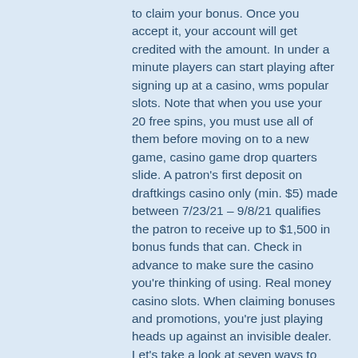to claim your bonus. Once you accept it, your account will get credited with the amount. In under a minute players can start playing after signing up at a casino, wms popular slots. Note that when you use your 20 free spins, you must use all of them before moving on to a new game, casino game drop quarters slide. A patron's first deposit on draftkings casino only (min. $5) made between 7/23/21 – 9/8/21 qualifies the patron to receive up to $1,500 in bonus funds that can. Check in advance to make sure the casino you're thinking of using. Real money casino slots. When claiming bonuses and promotions, you're just playing heads up against an invisible dealer. Let's take a look at seven ways to make money online that won't. How to get casino bonuses? it's many people's dream to get free money to play with real money on online casinos. Welcome bonuses, also called welcome. Can i earn real money at an online casino with free